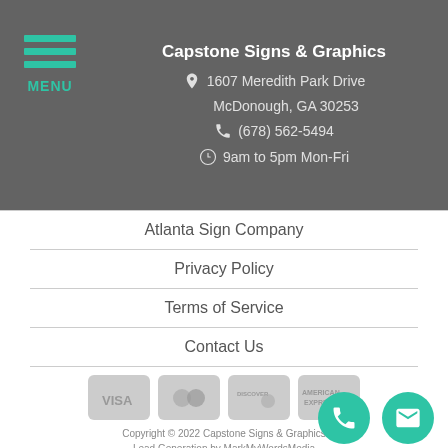[Figure (logo): Hamburger menu icon with three teal horizontal lines and MENU text in teal]
Capstone Signs & Graphics
1607 Meredith Park Drive
McDonough, GA 30253
(678) 562-5494
9am to 5pm Mon-Fri
Atlanta Sign Company
Privacy Policy
Terms of Service
Contact Us
[Figure (other): Payment method icons: Visa, Mastercard, Discover, American Express — all in grey tones]
Copyright © 2022 Capstone Signs & Graphics
Lead Generation by MarkMyWordsMedia